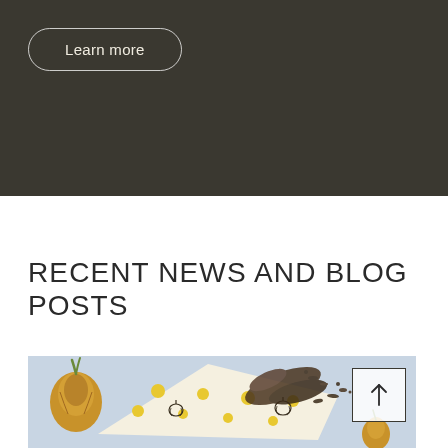Learn more
RECENT NEWS AND BLOG POSTS
[Figure (photo): Food flatlay photo on light blue background showing an onion, a patterned cloth/wrap with pumpkin illustrations and yellow dots, and scattered spices/herbs]
[Figure (other): Back to top button with upward arrow icon]